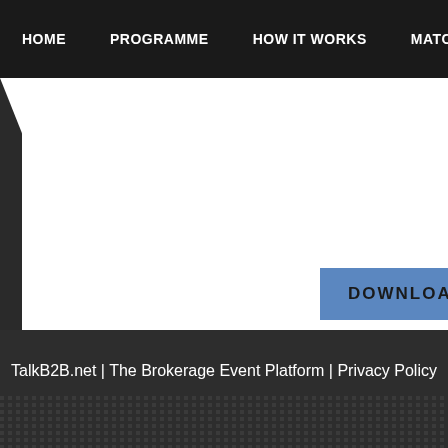HOME | PROGRAMME | HOW IT WORKS | MATCHM...
COUNTRY  Slovenia
CITY  SI-6000 KOPER, FERRARSKA 8...
DOWNLOAD DOCUMENT
AREAS OF ACTIVITIES  ICT SERVICES AND PRODU...
TalkB2B.net | The Brokerage Event Platform | Privacy Policy